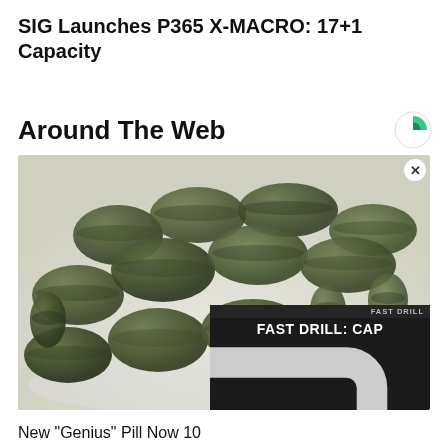SIG Launches P365 X-MACRO: 17+1 Capacity
Around The Web
[Figure (photo): A pile of dark olive-green tablets/pills on a white surface, with a video overlay in the bottom-right corner showing 'FAST DRILL: CAP' and an error message 'Uh oh, something went wrong' with playback controls and timestamp 0:00.]
New "Genius" Pill Now 10